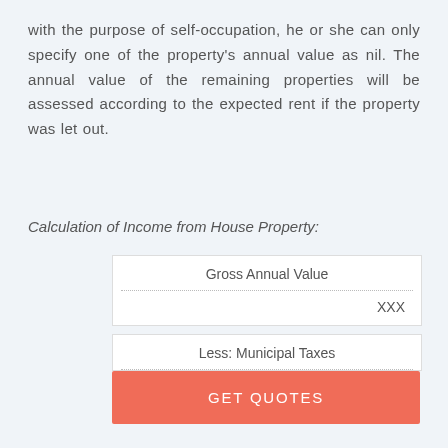with the purpose of self-occupation, he or she can only specify one of the property's annual value as nil. The annual value of the remaining properties will be assessed according to the expected rent if the property was let out.
Calculation of Income from House Property:
| Gross Annual Value |  |
| --- | --- |
|  | XXX |
| Less: Municipal Taxes |  |
| --- | --- |
GET QUOTES